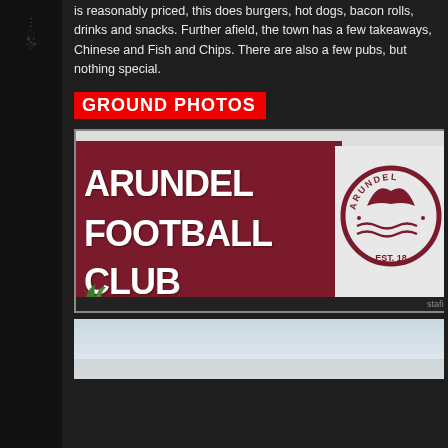is reasonably priced, this does burgers, hot dogs, bacon rolls, drinks and snacks. Further afield, the town has a few takeaways, Chinese and Fish and Chips. There are also a few pubs, but nothing special.
GROUND PHOTOS
[Figure (photo): Arundel Football Club sign in dark red/maroon with white text reading ARUNDEL FOOTBALL CLUB, with club crest on the right showing ARUNDEL and EST. 18...]
[Figure (photo): Partial view of a second ground photo showing light sky/building, partially cropped at the bottom of the page]